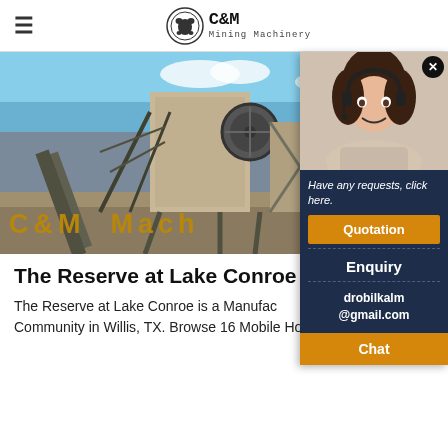C&M Mining Machinery
[Figure (photo): Industrial mining machinery/crusher plant with steel structure, conveyors, and blue sky background. Overlay text reads 'C&M Mach']
[Figure (photo): Customer service representative (woman with headset) popup overlay with dark navy background, showing 'Have any requests, click here.', Quotation button, Enquiry link, drobilkalm@gmail.com email, and Chat button]
The Reserve at Lake Conroe — Mo
The Reserve at Lake Conroe is a Manufactured Home Community in Willis, TX. Browse 16 Mobile Home